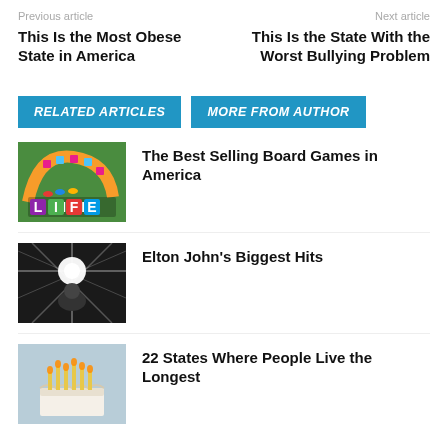Previous article | Next article
This Is the Most Obese State in America
This Is the State With the Worst Bullying Problem
RELATED ARTICLES
MORE FROM AUTHOR
[Figure (photo): Board game Life box top showing colorful game board]
The Best Selling Board Games in America
[Figure (photo): Black and white photo of Elton John performing with bright stage lights]
Elton John's Biggest Hits
[Figure (photo): Birthday cake with candles on light blue background]
22 States Where People Live the Longest